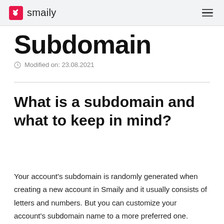smaily
Subdomain
Modified on: 23.08.2021
What is a subdomain and what to keep in mind?
Your account's subdomain is randomly generated when creating a new account in Smaily and it usually consists of letters and numbers. But you can customize your account's subdomain name to a more preferred one.